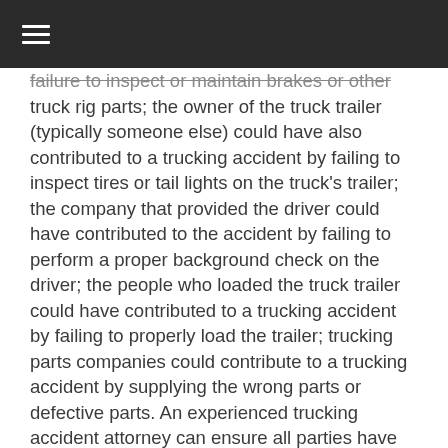≡
failure to inspect or maintain brakes or other truck rig parts; the owner of the truck trailer (typically someone else) could have also contributed to a trucking accident by failing to inspect tires or tail lights on the truck's trailer; the company that provided the driver could have contributed to the accident by failing to perform a proper background check on the driver; the people who loaded the truck trailer could have contributed to a trucking accident by failing to properly load the trailer; trucking parts companies could contribute to a trucking accident by supplying the wrong parts or defective parts. An experienced trucking accident attorney can ensure all parties have been examined and are included in any claim.